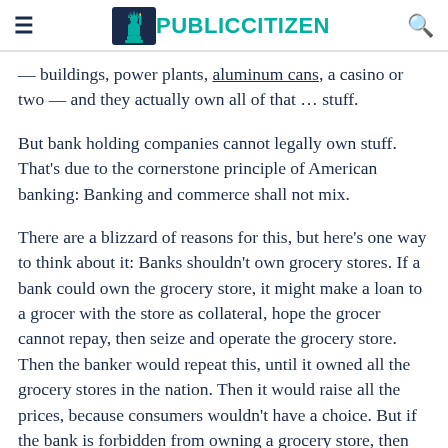PUBLIC CITIZEN
— buildings, power plants, aluminum cans, a casino or two — and they actually own all of that … stuff.
But bank holding companies cannot legally own stuff. That's due to the cornerstone principle of American banking: Banking and commerce shall not mix.
There are a blizzard of reasons for this, but here's one way to think about it: Banks shouldn't own grocery stores. If a bank could own the grocery store, it might make a loan to a grocer with the store as collateral, hope the grocer cannot repay, then seize and operate the grocery store. Then the banker would repeat this, until it owned all the grocery stores in the nation. Then it would raise all the prices, because consumers wouldn't have a choice. But if the bank is forbidden from owning a grocery store, then the only aspiration